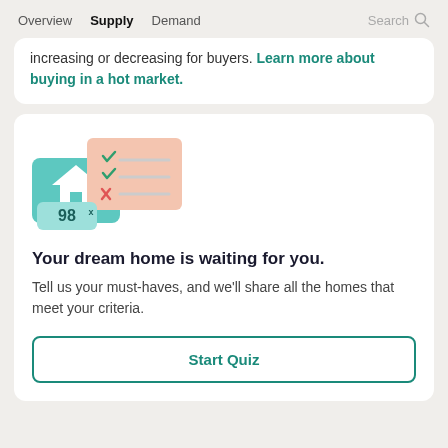Overview  Supply  Demand  Search
increasing or decreasing for buyers. Learn more about buying in a hot market.
[Figure (illustration): Illustration of a house with a checklist showing checkmarks and an X, labeled 98%]
Your dream home is waiting for you.
Tell us your must-haves, and we'll share all the homes that meet your criteria.
Start Quiz